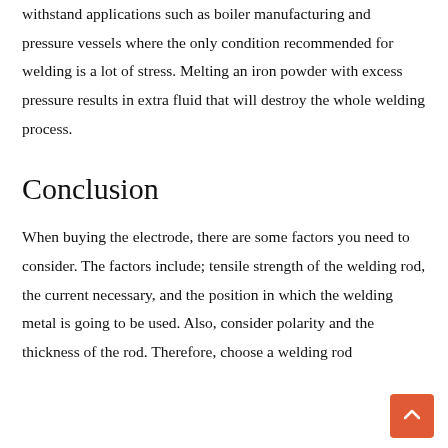withstand applications such as boiler manufacturing and pressure vessels where the only condition recommended for welding is a lot of stress. Melting an iron powder with excess pressure results in extra fluid that will destroy the whole welding process.
Conclusion
When buying the electrode, there are some factors you need to consider. The factors include; tensile strength of the welding rod, the current necessary, and the position in which the welding metal is going to be used. Also, consider polarity and the thickness of the rod. Therefore, choose a welding rod